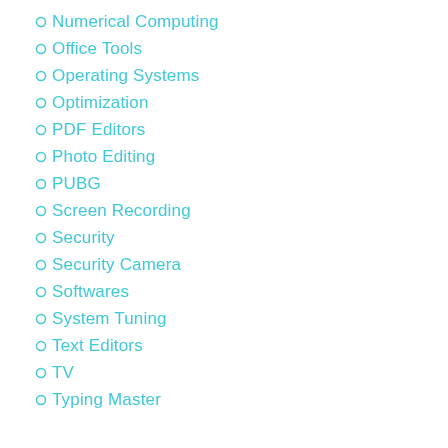Numerical Computing
Office Tools
Operating Systems
Optimization
PDF Editors
Photo Editing
PUBG
Screen Recording
Security
Security Camera
Softwares
System Tuning
Text Editors
TV
Typing Master